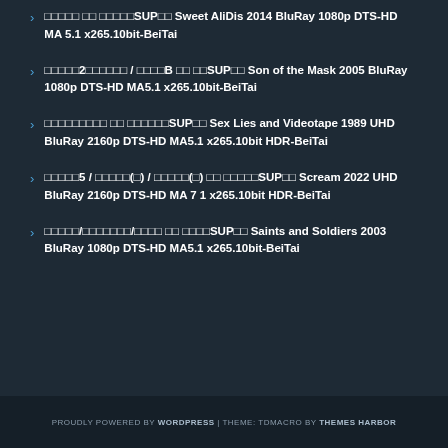□□□□□ □□ □□□□□SUP□□ Sweet AliDis 2014 BluRay 1080p DTS-HD MA 5.1 x265.10bit-BeiTai
□□□□□2□□□□□□ / □□□□B □□ □□SUP□□ Son of the Mask 2005 BluRay 1080p DTS-HD MA5.1 x265.10bit-BeiTai
□□□□□□□□□ □□ □□□□□□SUP□□ Sex Lies and Videotape 1989 UHD BluRay 2160p DTS-HD MA5.1 x265.10bit HDR-BeiTai
□□□□□5 / □□□□□(□) / □□□□□(□) □□ □□□□□SUP□□ Scream 2022 UHD BluRay 2160p DTS-HD MA 7 1 x265.10bit HDR-BeiTai
□□□□□/□□□□□□□/□□□□ □□ □□□□SUP□□ Saints and Soldiers 2003 BluRay 1080p DTS-HD MA5.1 x265.10bit-BeiTai
PROUDLY POWERED BY WORDPRESS | THEME: TDMACRO BY THEMES HARBOR